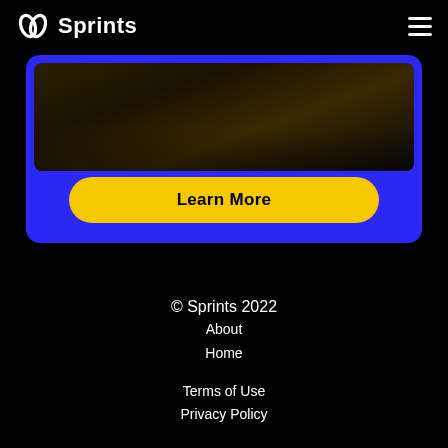Sprints
[Figure (screenshot): Blue card container with a dark photo image at top and a yellow 'Learn More' button at the bottom on a blue background]
Learn More
© Sprints 2022
About
Home
Terms of Use
Privacy Policy